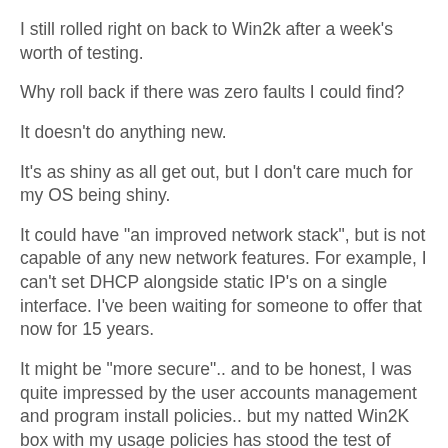I still rolled right on back to Win2k after a week's worth of testing.
Why roll back if there was zero faults I could find?
It doesn't do anything new.
It's as shiny as all get out, but I don't care much for my OS being shiny.
It could have "an improved network stack", but is not capable of any new network features. For example, I can't set DHCP alongside static IP's on a single interface. I've been waiting for someone to offer that now for 15 years.
It might be "more secure".. and to be honest, I was quite impressed by the user accounts management and program install policies.. but my natted Win2K box with my usage policies has stood the test of time and requires no extra security.
So, beyond the superficial there is really no advantage to the